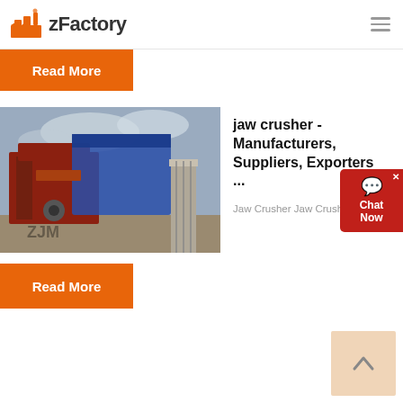zFactory
Read More
[Figure (photo): Industrial jaw crusher machinery at a construction or mining site with red metal frame and blue covering, under a cloudy sky.]
jaw crusher - Manufacturers, Suppliers, Exporters ...
Jaw Crusher Jaw Crusher Price P...
Read More